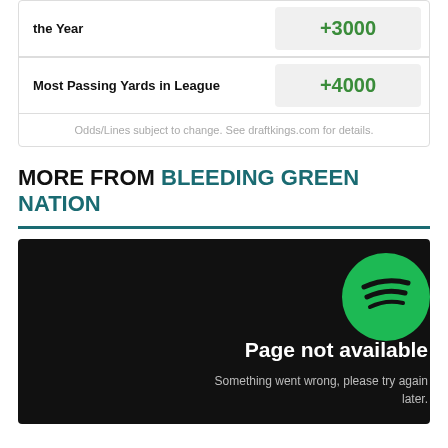| Bet Type | Odds |
| --- | --- |
| ...the Year | +3000 |
| Most Passing Yards in League | +4000 |
Odds/Lines subject to change. See draftkings.com for details.
MORE FROM BLEEDING GREEN NATION
[Figure (screenshot): Spotify 'Page not available' error screen on black background with Spotify green logo. Text reads: 'Page not available' and 'Something went wrong, please try again later.']